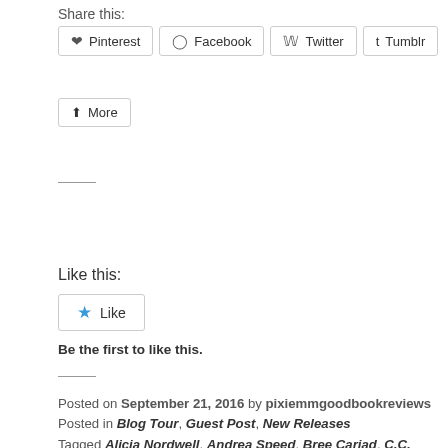Share this:
Pinterest | Facebook | Twitter | Tumblr | More
Like this:
Like
Be the first to like this.
Posted on September 21, 2016 by pixiemmgoodbookreviews Posted in Blog Tour, Guest Post, New Releases Tagged Alicia Nordwell, Andrea Speed, Bree Cariad, C.C. Dado, Caitlin Ricci, Charity Anthology, Chrissy Munder, Connie Bailey, Dev Bentham, Dreamspinner Press, Edmond Manning, Elizabeth Noble, Ellis Carrington, Emery C. Walters, Felicitas Ivey, Gay Anthology, Gay Contemporary, Gay Ghosts/Spirits, Gay New Adult, Gay Paranormal, Gay Science Fiction, Gay Werewolves/Shifters, Gay Western, George Seaton, GLBT Anthology, GLBT Contemporary, GLBT Ghosts/Spirits, GLBT New Adult, GLBT Paranormal, GLBT Science Fiction, GLBT Werewolves/Shifters, GLBT